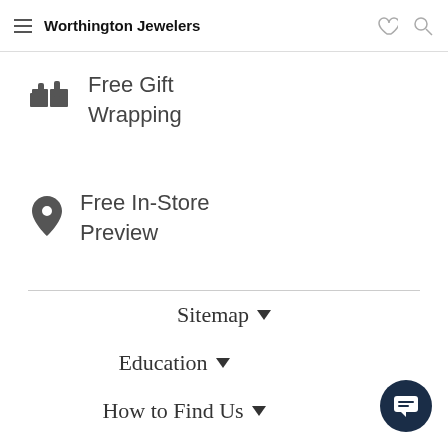Worthington Jewelers
Free Gift Wrapping
Free In-Store Preview
Sitemap
Education
How to Find Us